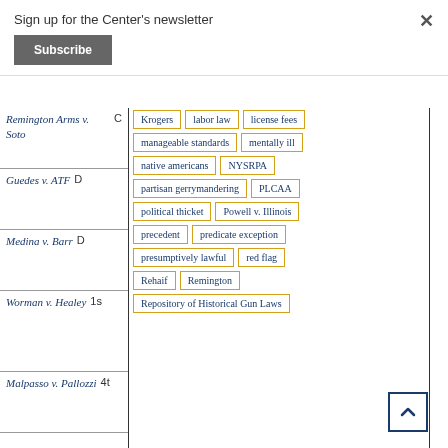Sign up for the Center's newsletter
Subscribe
×
Remington Arms v. Soto
Guedes v. ATF D
Medina v. Barr D
Worman v. Healey 1s
Malpasso v. Pallozzi 4t
Krogers
labor law
license fees
manageable standards
mentally ill
native americans
NYSRPA
partisan gerrymandering
PLCAA
political thicket
Powell v. Illinois
precedent
predicate exception
presumptively lawful
red flag
Rehaif
Remington
Repository of Historical Gun Laws